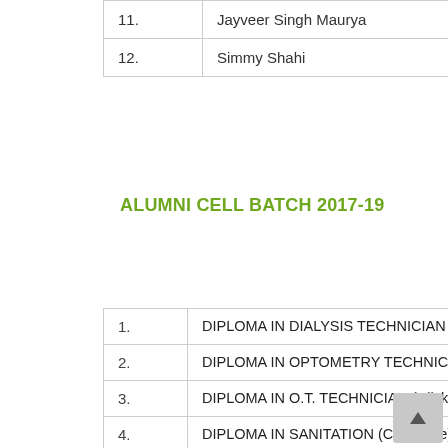| No. | Name | Place |
| --- | --- | --- |
| 11. | Jayveer Singh Maurya | Shahja… |
| 12. | Simmy Shahi | Gonda |
ALUMNI CELL BATCH 2017-19
| No. | Program |
| --- | --- |
| 1. | DIPLOMA IN DIALYSIS TECHNICIAN (Click here) |
| 2. | DIPLOMA IN OPTOMETRY TECHNICIAN (Click here) |
| 3. | DIPLOMA IN O.T. TECHNICIAN (Click here) |
| 4. | DIPLOMA IN SANITATION (Click here) |
| 5. | DIPLOMA IN CARDIOLOGY TECHNICIAN (Click here) |
| 6. | DIPLOMA IN C.T. SCAN TECHNICIAN (Click here) |